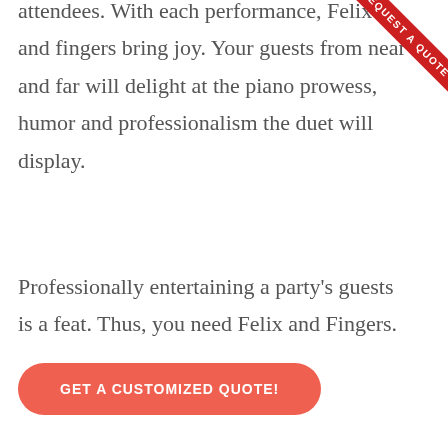attendees. With each performance, Felix and fingers bring joy. Your guests from near and far will delight at the piano prowess, humor and professionalism the duet will display.
Professionally entertaining a party's guests is a feat. Thus, you need Felix and Fingers.
GET A CUSTOMIZED QUOTE!
Recent Shows
Felix And Fingers is providing top-notch